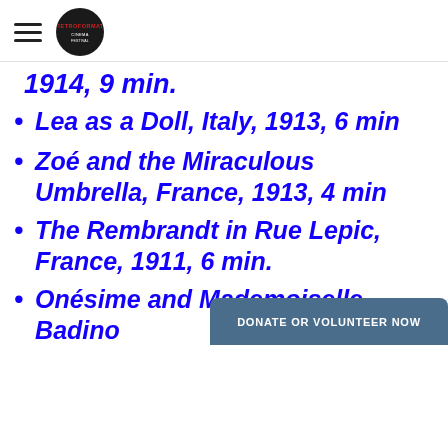Retroformat logo and navigation
1914, 9 min.
Lea as a Doll, Italy, 1913, 6 min
Zoé and the Miraculous Umbrella, France, 1913, 4 min
The Rembrandt in Rue Lepic, France, 1911, 6 min.
Onésime and Mademoiselle Badino...
DONATE OR VOLUNTEER NOW